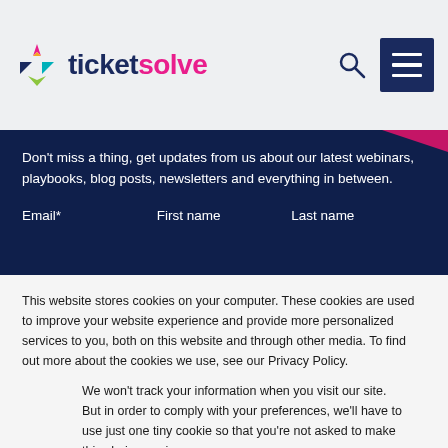ticketsolve
Don't miss a thing, get updates from us about our latest webinars, playbooks, blog posts, newsletters and everything in between.
Email*    First name    Last name
This website stores cookies on your computer. These cookies are used to improve your website experience and provide more personalized services to you, both on this website and through other media. To find out more about the cookies we use, see our Privacy Policy.
We won't track your information when you visit our site. But in order to comply with your preferences, we'll have to use just one tiny cookie so that you're not asked to make this choice again.
Accept
Decline